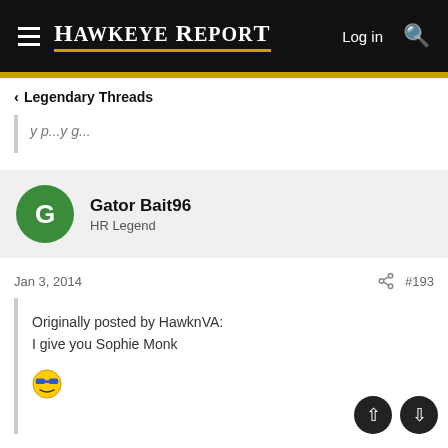Hawkeye Report
< Legendary Threads
...y p...y g...
Gator Bait96
HR Legend
Jan 3, 2014  #193
Originally posted by HawknVA:
I give you Sophie Monk